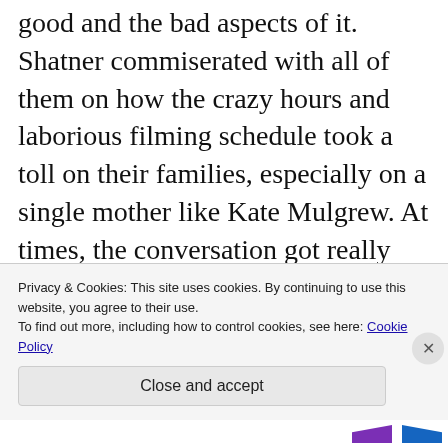good and the bad aspects of it. Shatner commiserated with all of them on how the crazy hours and laborious filming schedule took a toll on their families, especially on a single mother like Kate Mulgrew. At times, the conversation got really personal with Kate as she lamented on her struggle being the sole female captain ([protagonist) in a man's world like Hollywood whilst raising two young kids
Privacy & Cookies: This site uses cookies. By continuing to use this website, you agree to their use.
To find out more, including how to control cookies, see here: Cookie Policy